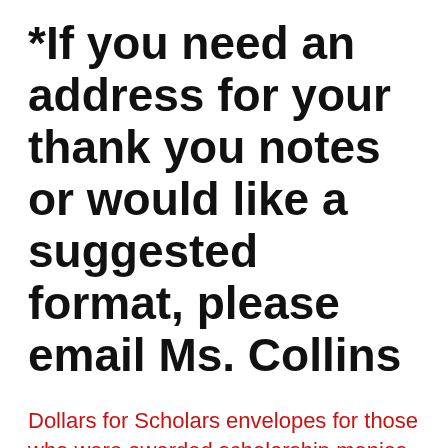*If you need an address for your thank you notes or would like a suggested format, please email Ms. Collins
Dollars for Scholars envelopes for those who were awarded scholarship monies will be available from Mr. Stoffer when your